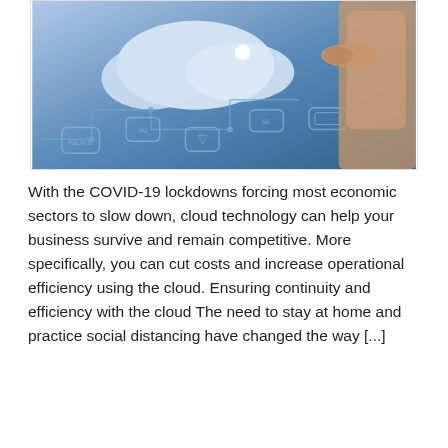[Figure (photo): A hand pointing at a glowing cloud connected to circuit board icons and digital interface elements against a blue background, representing cloud technology.]
With the COVID-19 lockdowns forcing most economic sectors to slow down, cloud technology can help your business survive and remain competitive. More specifically, you can cut costs and increase operational efficiency using the cloud. Ensuring continuity and efficiency with the cloud The need to stay at home and practice social distancing have changed the way [...]
Read more